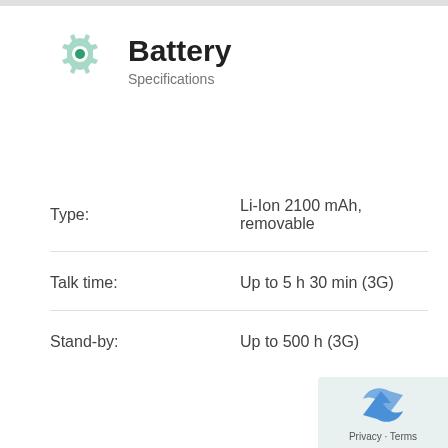Battery
Specifications
Type: Li-Ion 2100 mAh, removable
Talk time: Up to 5 h 30 min (3G)
Stand-by: Up to 500 h (3G)
[Figure (logo): reCAPTCHA logo with Privacy and Terms footer badge]